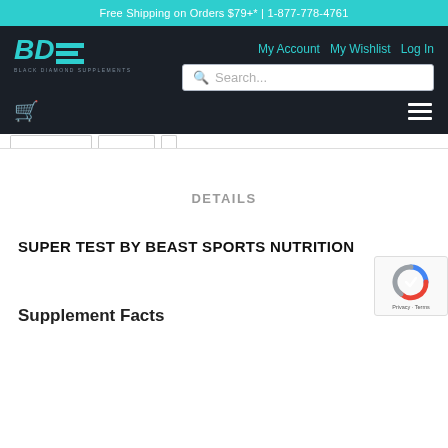Free Shipping on Orders $79+* | 1-877-778-4761
[Figure (logo): Black Diamond Supplements logo with BDS letters in teal/cyan and horizontal bars forming the S]
My Account   My Wishlist   Log In
DETAILS
SUPER TEST BY BEAST SPORTS NUTRITION
Supplement Facts